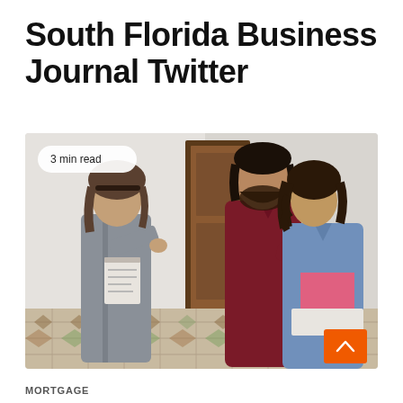South Florida Business Journal Twitter
[Figure (photo): A real estate agent or mortgage broker holding a clipboard and pointing at documents, speaking with a couple (man with beard in dark red shirt with arm around a woman in blue denim jacket) in what appears to be a home or property with a patterned tile floor and wooden door. Badge overlay reads '3 min read'.]
MORTGAGE